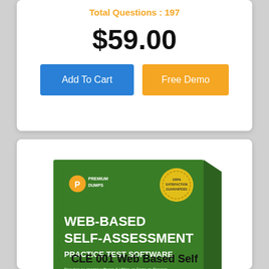Total Questions : 197
$59.00
Add To Cart
Free Demo
[Figure (illustration): Green and orange product box for Premium Dumps Web-Based Self-Assessment Practice Test Software with satisfaction guarantee seal, browser/device icons, and product features list]
CLE 001 Web Based Self